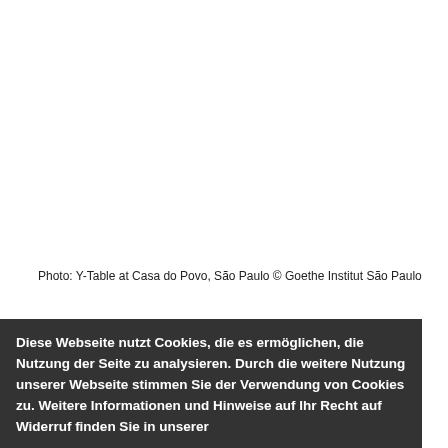Photo: Y-Table at Casa do Povo, São Paulo © Goethe Institut São Paulo
Diese Webseite nutzt Cookies, die es ermöglichen, die Nutzung der Seite zu analysieren. Durch die weitere Nutzung unserer Webseite stimmen Sie der Verwendung von Cookies zu. Weitere Informationen und Hinweise auf Ihr Recht auf Widerruf finden Sie in unserer